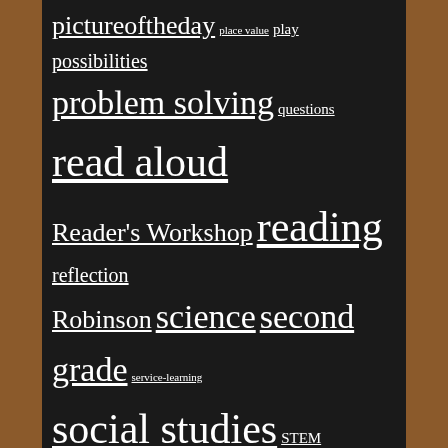pictureoftheday place value play possibilities problem solving questions read aloud Reader's Workshop reading reflection Robinson science second grade service-learning social studies STEM strategies subtraction summer technology thinking Twitter Writer's Notebooks Writer's Workshop writing
Never Miss a Post!
Enter your email address to follow this blog and receive notifications of new posts by email.